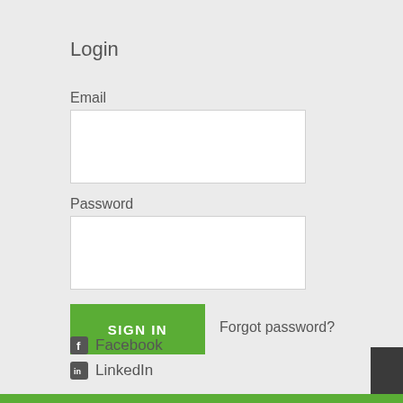Login
Email
[Figure (other): Email input text field, empty, white background with light border]
Password
[Figure (other): Password input text field, empty, white background with light border]
[Figure (other): Green SIGN IN button]
Forgot password?
Facebook
LinkedIn